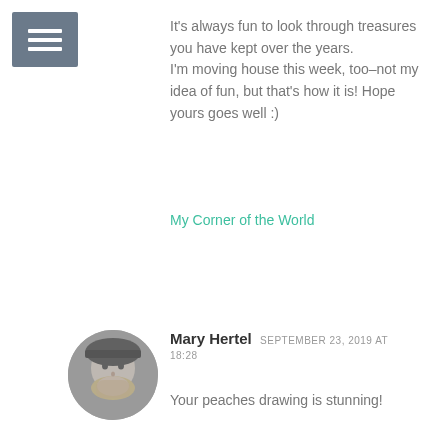[Figure (other): Hamburger menu icon — three horizontal white bars on a grey square background]
It's always fun to look through treasures you have kept over the years.
I'm moving house this week, too–not my idea of fun, but that's how it is! Hope yours goes well :)
My Corner of the World
Reply
[Figure (photo): Circular avatar photo of Mary Hertel — woman wearing a dark hat, black and white photo]
Mary Hertel  SEPTEMBER 23, 2019 AT 18:28
Your peaches drawing is stunning!
Reply